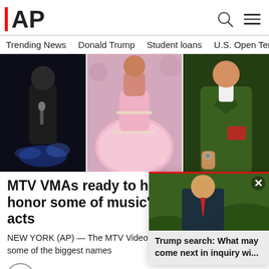AP
Trending News
Donald Trump
Student loans
U.S. Open Tenn
[Figure (photo): Three-panel photo collage: left panel shows a male performer in dark hoodie holding microphone with stage lights; center panel shows a woman in an elaborate pink ball gown with crystal embellishments; right panel shows a person in a green leather jacket.]
MTV VMAs ready to host, honor some of music's biggest acts
NEW YORK (AP) — The MTV Video Sunday with some of the biggest names
[Figure (photo): Floating popup card showing Donald Trump photo with text: Trump search: What may come next in inquiry wi...]
mins ago
Ad Content